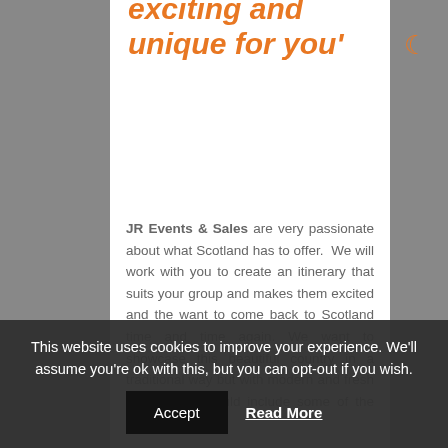exciting and unique for you'
JR Events & Sales are very passionate about what Scotland has to offer.  We will work with you to create an itinerary that suits your group and makes them excited and the want to come back to Scotland time and time again. We want to showcase this beautiful country in a traditional way but with modern and fresh twists which could include some of the popular visitor
This website uses cookies to improve your experience. We'll assume you're ok with this, but you can opt-out if you wish.
Accept   Read More